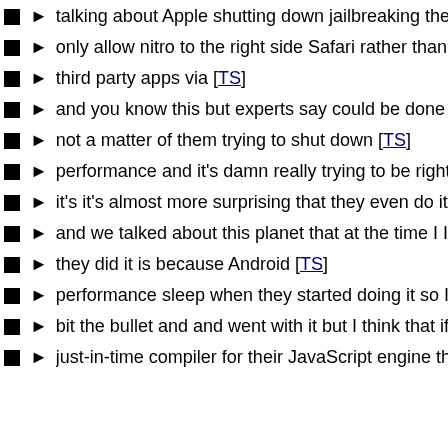▶ talking about Apple shutting down jailbreaking there's a reas
▶ only allow nitro to the right side Safari rather than in said you
▶ third party apps via [TS]
▶ and you know this but experts say could be done things bro
▶ not a matter of them trying to shut down [TS]
▶ performance and it's damn really trying to be right absolutely
▶ it's it's almost more surprising that they even do it use it in M
▶ and we talked about this planet that at the time I I think the d
▶ they did it is because Android [TS]
▶ performance sleep when they started doing it so I think they
▶ bit the bullet and and went with it but I think that if if Android
▶ just-in-time compiler for their JavaScript engine that Apple w